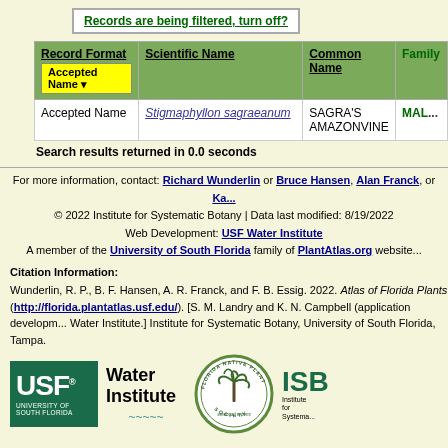Records are being filtered, turn off?
| Record Format / Accepted Name | Scientific Name | Common Name | Family |
| --- | --- | --- | --- |
| Accepted Name | Stigmaphyllon sagraeanum | SAGRA'S AMAZONVINE | MAL... |
Search results returned in 0.0 seconds
For more information, contact: Richard Wunderlin or Bruce Hansen, Alan Franck, or Ka...
© 2022 Institute for Systematic Botany | Data last modified: 8/19/2022
Web Development: USF Water Institute
A member of the University of South Florida family of PlantAtlas.org website...
Citation Information:
Wunderlin, R. P., B. F. Hansen, A. R. Franck, and F. B. Essig. 2022. Atlas of Florida Plants (http://florida.plantatlas.usf.edu/). [S. M. Landry and K. N. Campbell (application development), Water Institute.] Institute for Systematic Botany, University of South Florida, Tampa.
[Figure (logo): USF University of South Florida logo, Water Institute logo, Florida Native Plant Society circular logo, ISB Institute for Systematic Botany logo]